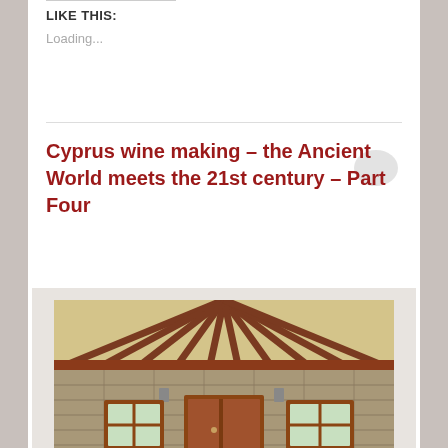LIKE THIS:
Loading...
Cyprus wine making – the Ancient World meets the 21st century – Part Four
[Figure (photo): Exterior of a traditional stone building with wooden beam ceiling/pergola, featuring brown wooden doors and windows, rustic stone walls]